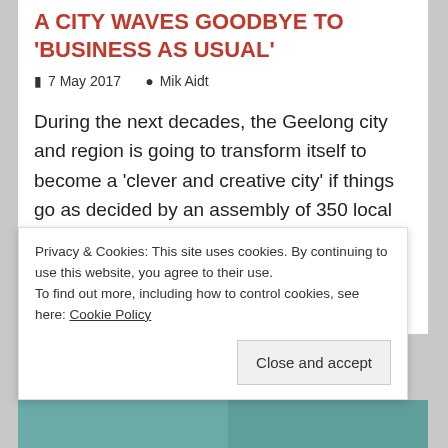A CITY WAVES GOODBYE TO 'BUSINESS AS USUAL'
7 May 2017   Mik Aidt
During the next decades, the Geelong city and region is going to transform itself to become a 'clever and creative city' if things go as decided by an assembly of 350 local residents who gathered on 6 May 2017 to
Continue reading »
Privacy & Cookies: This site uses cookies. By continuing to use this website, you agree to their use.
To find out more, including how to control cookies, see here: Cookie Policy
Close and accept
[Figure (photo): Two thumbnail images at the bottom of the page with a teal/green color tone]